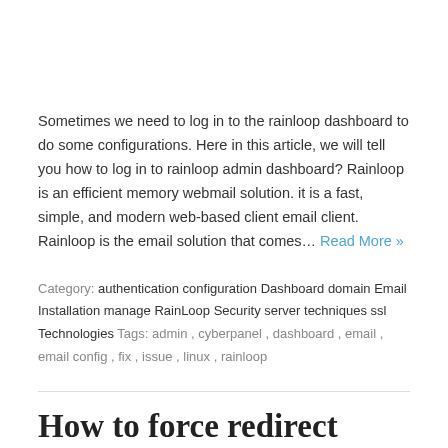Sometimes we need to log in to the rainloop dashboard to do some configurations. Here in this article, we will tell you how to log in to rainloop admin dashboard? Rainloop is an efficient memory webmail solution. it is a fast, simple, and modern web-based client email client. Rainloop is the email solution that comes… Read More »
Category: authentication configuration Dashboard domain Email Installation manage RainLoop Security server techniques ssl Technologies Tags: admin, cyberpanel, dashboard, email, email config, fix, issue, linux, rainloop
How to force redirect HTTP